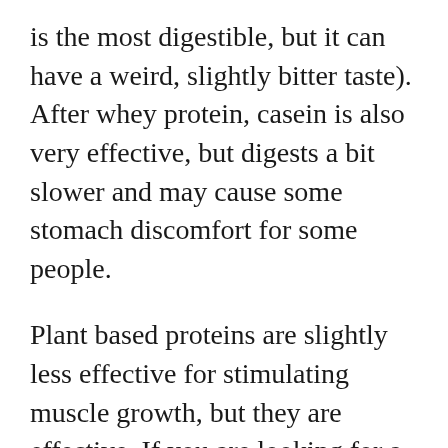is the most digestible, but it can have a weird, slightly bitter taste). After whey protein, casein is also very effective, but digests a bit slower and may cause some stomach discomfort for some people.
Plant based proteins are slightly less effective for stimulating muscle growth, but they are effective. If you are looking for a plant based protein, soy protein powders can be of very high quality, as well as some hemp, pea, brown rice, and other plant based proteins. It may be beneficial to find blends of plant based proteins or rotate them out each time you buy one